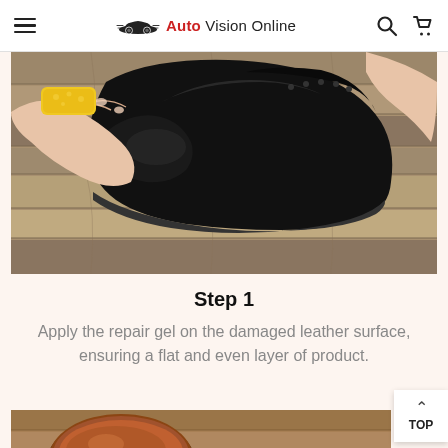Auto Vision Online
[Figure (photo): Overhead view of a person applying product to a black leather shoe on a wooden surface. The hand holds a yellow sponge applicator while polishing the toe of a black dress boot.]
Step 1
Apply the repair gel on the damaged leather surface, ensuring a flat and even layer of product.
[Figure (photo): Partial view of an open tin of brown leather repair product on a wooden surface.]